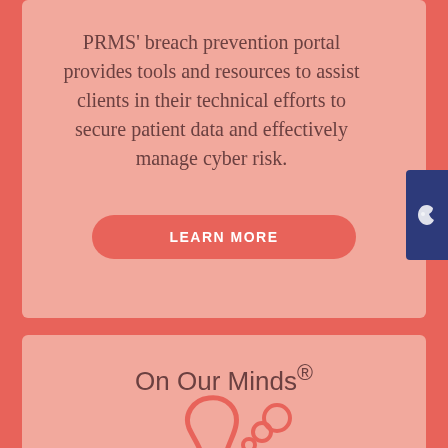PRMS' breach prevention portal provides tools and resources to assist clients in their technical efforts to secure patient data and effectively manage cyber risk.
[Figure (illustration): Dark blue tab with a white leaf/shield icon on the right side]
LEARN MORE
On Our Minds®
[Figure (illustration): Red/coral outline icon of a head with a thought bubble, partially visible at bottom of page]